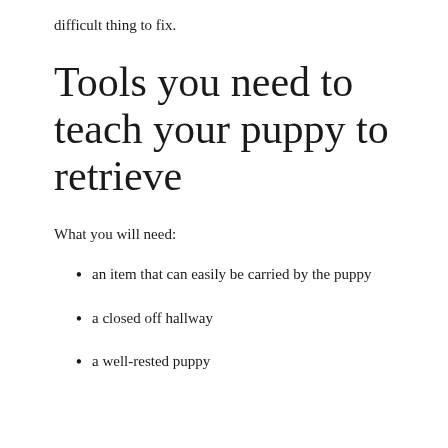difficult thing to fix.
Tools you need to teach your puppy to retrieve
What you will need:
an item that can easily be carried by the puppy
a closed off hallway
a well-rested puppy